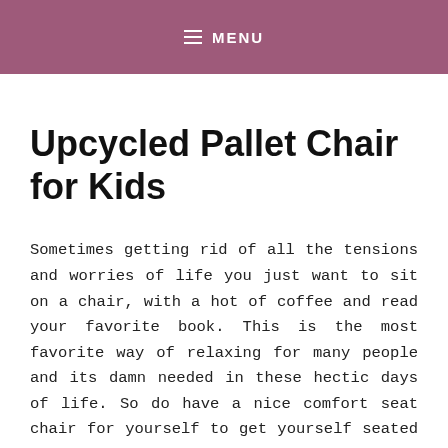≡ MENU
Upcycled Pallet Chair for Kids
Sometimes getting rid of all the tensions and worries of life you just want to sit on a chair, with a hot of coffee and read your favorite book. This is the most favorite way of relaxing for many people and its damn needed in these hectic days of life. So do have a nice comfort seat chair for yourself to get yourself seated on whenever you are feeling low. And here we have a handcrafted inspiration for you to get